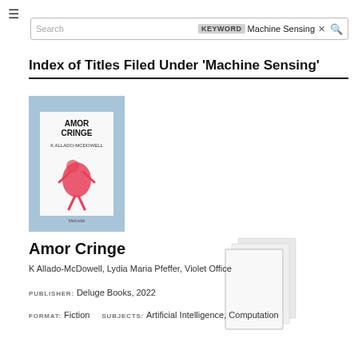≡
Search  KEYWORD  Machine Sensing  ×  🔍
Index of Titles Filed Under 'Machine Sensing'
[Figure (illustration): Book cover of 'Amor Cringe' by K Allado-McDowell, blue background with white inner page area and red/pink abstract figure illustration, text: AMOR CRINGE, K ALLADO-MCDOWELL, Makrolab]
[Figure (illustration): Stacked book pages image showing layered white pages in a fan/stack arrangement]
Amor Cringe
K Allado-McDowell, Lydia Maria Pfeffer, Violet Office
PUBLISHER: Deluge Books, 2022
FORMAT: Fiction   SUBJECTS: Artificial Intelligence, Computation